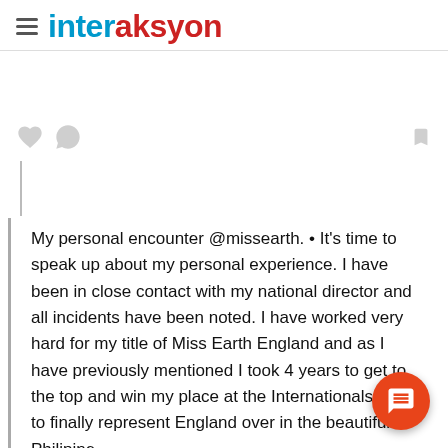interaksyon
My personal encounter @missearth. • It's time to speak up about my personal experience. I have been in close contact with my national director and all incidents have been noted. I have worked very hard for my title of Miss Earth England and as I have previously mentioned I took 4 years to get to the top and win my place at the Internationals. I wa... to finally represent England over in the beautiful Philipine...